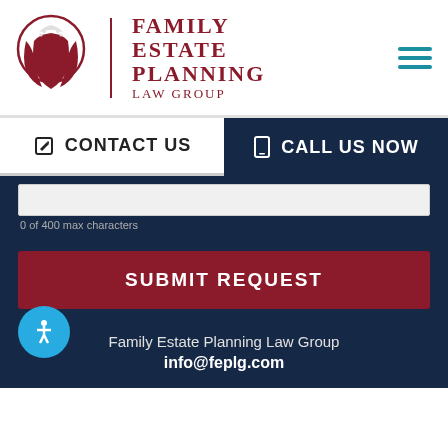[Figure (logo): Family Estate Planning Law Group logo with stylized tree/shield emblem in dark red]
Family Estate Planning Law Group
CONTACT US
CALL US NOW
0 of 400 max characters
SUBMIT REQUEST
Family Estate Planning Law Group
info@feplg.com